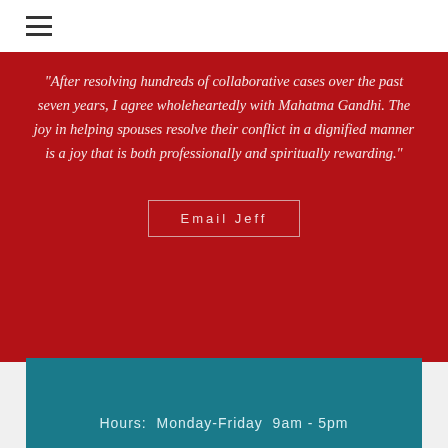≡
"After resolving hundreds of collaborative cases over the past seven years, I agree wholeheartedly with Mahatma Gandhi. The joy in helping spouses resolve their conflict in a dignified manner is a joy that is both professionally and spiritually rewarding."
Email Jeff
Hours:  Monday-Friday  9am - 5pm